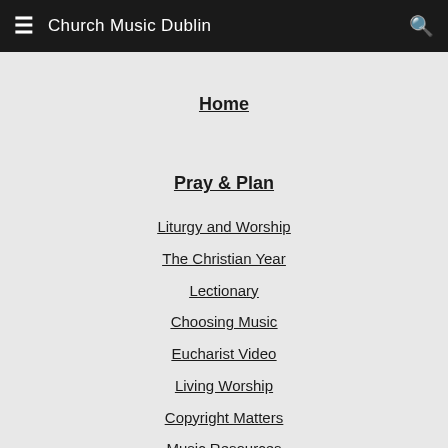Church Music Dublin
Home
Pray & Plan
Liturgy and Worship
The Christian Year
Lectionary
Choosing Music
Eucharist Video
Living Worship
Copyright Matters
Music Resources